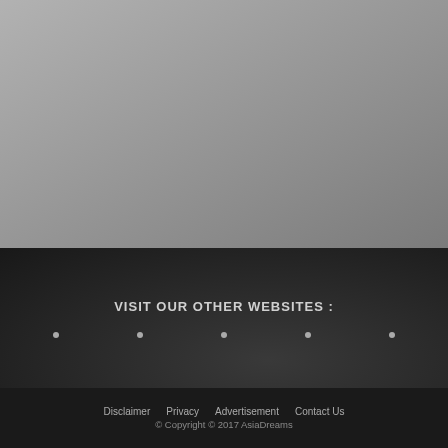[Figure (photo): Dark background with a blurred image of a laptop and desk setup, forming the top and middle sections of the page]
VISIT OUR OTHER WEBSITES :
• • • • •
Disclaimer  Privacy  Advertisement  Contact Us
© Copyright © 2017 AsiaDreams